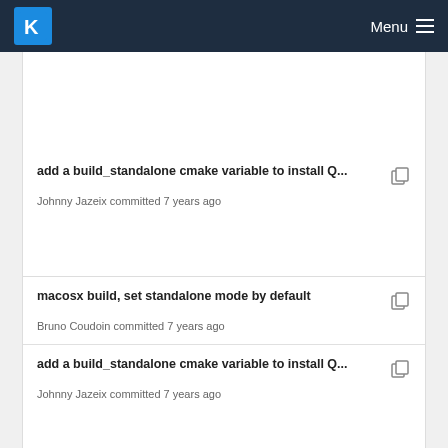KDE Menu
add a build_standalone cmake variable to install Q...
Johnny Jazeix committed 7 years ago
macosx build, set standalone mode by default
Bruno Coudoin committed 7 years ago
add a build_standalone cmake variable to install Q...
Johnny Jazeix committed 7 years ago
update rcc and translations paths to ../share/gcom...